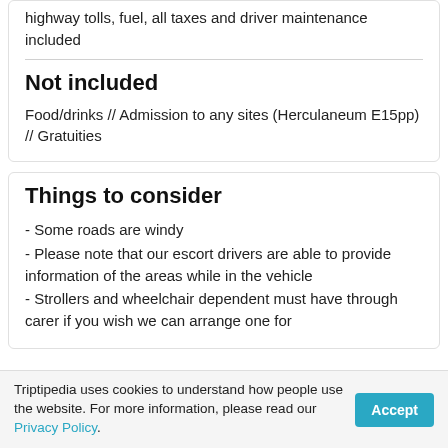highway tolls, fuel, all taxes and driver maintenance included
Not included
Food/drinks // Admission to any sites (Herculaneum E15pp) // Gratuities
Things to consider
- Some roads are windy
- Please note that our escort drivers are able to provide information of the areas while in the vehicle
- Strollers and wheelchair dependent must have through carer if you wish we can arrange one for
Triptipedia uses cookies to understand how people use the website. For more information, please read our Privacy Policy. Accept